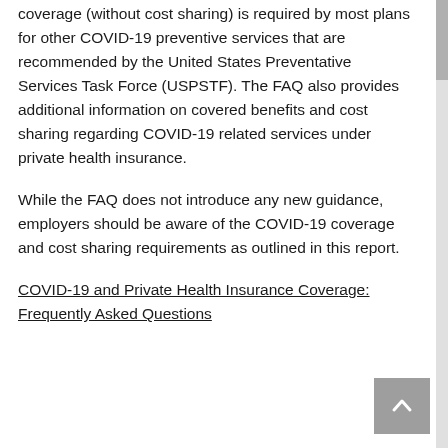coverage (without cost sharing) is required by most plans for other COVID-19 preventive services that are recommended by the United States Preventative Services Task Force (USPSTF). The FAQ also provides additional information on covered benefits and cost sharing regarding COVID-19 related services under private health insurance.
While the FAQ does not introduce any new guidance, employers should be aware of the COVID-19 coverage and cost sharing requirements as outlined in this report.
COVID-19 and Private Health Insurance Coverage: Frequently Asked Questions